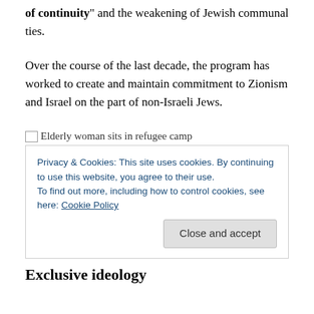increasing rates of intermarriage, the perceived "crisis of continuity" and the weakening of Jewish communal ties.
Over the course of the last decade, the program has worked to create and maintain commitment to Zionism and Israel on the part of non-Israeli Jews.
[Figure (photo): Broken image placeholder with alt text: Elderly woman sits in refugee camp]
Privacy & Cookies: This site uses cookies. By continuing to use this website, you agree to their use.
To find out more, including how to control cookies, see here: Cookie Policy
[Close and accept button]
Exclusive ideology